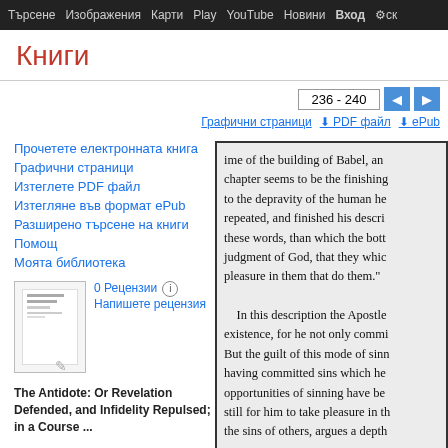Търсене  Изображения  Карти  Play  YouTube  Новини  Вход  ск
Книги
236 - 240
Графични страници  ⬇ PDF файл  ⬇ ePub
Прочетете електронната книга
Графични страници
Изтеглете PDF файл
Изтегляне във формат ePub
Разширено търсене на книги
Помощ
Моята библиотека
0 Рецензии  Напишете рецензия
The Antidote: Or Revelation Defended, and Infidelity Repulsed; in a Course ...
ime of the building of Babel, an chapter seems to be the finishing to the depravity of the human he repeated, and finished his descri these words, than which the bott judgment of God, that they whic pleasure in them that do them." In this description the Apostle existence, for he not only commi But the guilt of this mode of sinn having committed sins which he opportunities of sinning have be still for him to take pleasure in th the sins of others, argues a depth